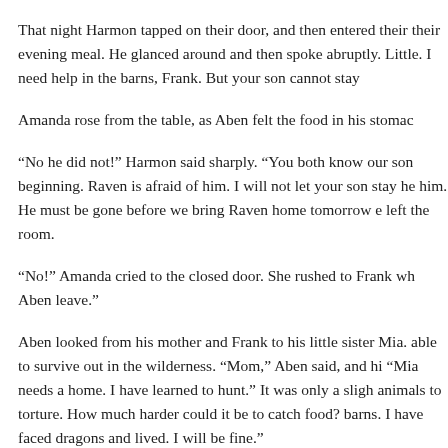That night Harmon tapped on their door, and then entered their their evening meal. He glanced around and then spoke abruptly. Little. I need help in the barns, Frank. But your son cannot stay
Amanda rose from the table, as Aben felt the food in his stomac
“No he did not!” Harmon said sharply. “You both know our son beginning. Raven is afraid of him. I will not let your son stay he him. He must be gone before we bring Raven home tomorrow e left the room.
“No!” Amanda cried to the closed door. She rushed to Frank wh Aben leave.”
Aben looked from his mother and Frank to his little sister Mia. able to survive out in the wilderness. “Mom,” Aben said, and hi “Mia needs a home. I have learned to hunt.” It was only a sligh animals to torture. How much harder could it be to catch food? barns. I have faced dragons and lived. I will be fine.”